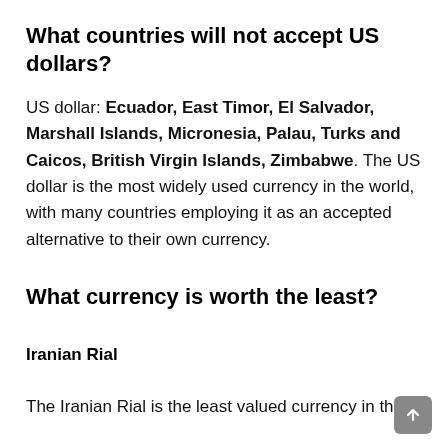What countries will not accept US dollars?
US dollar: Ecuador, East Timor, El Salvador, Marshall Islands, Micronesia, Palau, Turks and Caicos, British Virgin Islands, Zimbabwe. The US dollar is the most widely used currency in the world, with many countries employing it as an accepted alternative to their own currency.
What currency is worth the least?
Iranian Rial
The Iranian Rial is the least valued currency in the